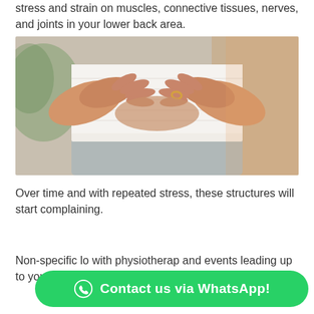stress and strain on muscles, connective tissues, nerves, and joints in your lower back area.
[Figure (photo): Person holding their lower back with both hands, wearing a white top and light grey pants, suggesting lower back pain.]
Over time and with repeated stress, these structures will start complaining.
Non-specific lo... with physiotherapy... and events leading up to your pain, we will advise and
Contact us via WhatsApp!